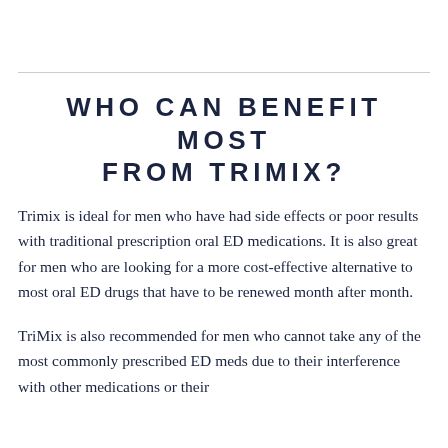WHO CAN BENEFIT MOST FROM TRIMIX?
Trimix is ideal for men who have had side effects or poor results with traditional prescription oral ED medications. It is also great for men who are looking for a more cost-effective alternative to most oral ED drugs that have to be renewed month after month.
TriMix is also recommended for men who cannot take any of the most commonly prescribed ED meds due to their interference with other medications or their